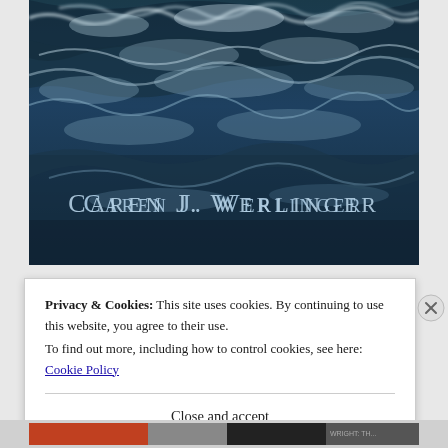[Figure (illustration): Book cover image showing a stormy ocean with white-capped waves in dark teal/navy tones. Author name 'CAREN J. WERLINGER' displayed in light blue serif small-caps lettering overlaid on the lower portion of the ocean image.]
Privacy & Cookies: This site uses cookies. By continuing to use this website, you agree to their use.
To find out more, including how to control cookies, see here: Cookie Policy
Close and accept